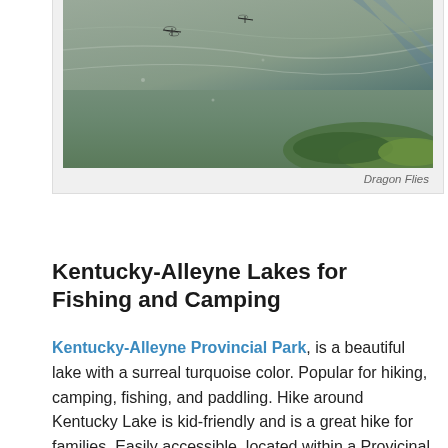[Figure (photo): Aerial or close-up view of water surface with dragonflies visible, greenish murky water with vegetation visible near the bottom right]
Dragon Flies
Kentucky-Alleyne Lakes for Fishing and Camping
Kentucky-Alleyne Provincial Park, is a beautiful lake with a surreal turquoise color. Popular for hiking, camping, fishing, and paddling. Hike around Kentucky Lake is kid-friendly and is a great hike for families. Easily accessible, located within a Provincial Park, the natural lake provided for